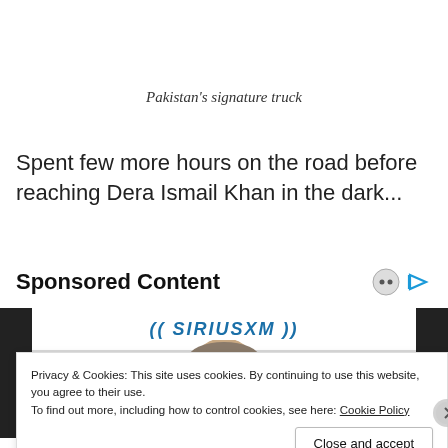Pakistan's signature truck
Spent few more hours on the road before reaching Dera Ismail Khan in the dark...
Sponsored Content
[Figure (photo): Advertisement banner showing SiriusXM logo and a person's head, partially visible]
Privacy & Cookies: This site uses cookies. By continuing to use this website, you agree to their use.
To find out more, including how to control cookies, see here: Cookie Policy
Close and accept